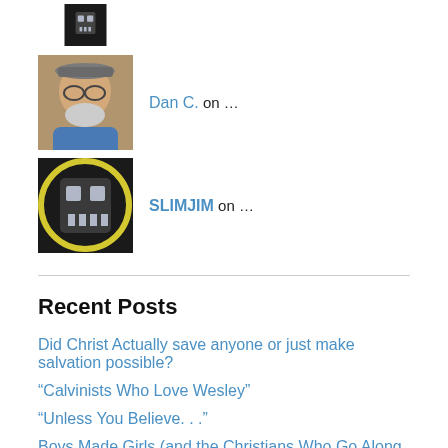[Figure (illustration): Avatar icon with robot skull-like pixel art face on black background, partial view at top]
Dan C. on …
[Figure (photo): Photo of a man with glasses and a hat, smiling]
SLIMJIM on …
[Figure (illustration): Avatar icon with robot skull-like pixel art face on black background with yellow ring]
Recent Posts
Did Christ Actually save anyone or just make salvation possible?
“Calvinists Who Love Wesley”
“Unless You Believe. . .”
Boys Made Girls (and the Christians Who Go Along With It) • Pastor Gabe
God Keeps and Protects Those Whom He Saves!
Archives